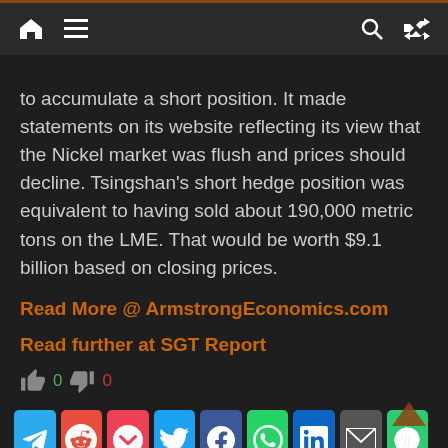[navigation bar with home, menu, search, shuffle icons]
to accumulate a short position. It made statements on its website reflecting its view that the Nickel market was flush and prices should decline. Tsingshan’s short hedge position was equivalent to having sold about 190,000 metric tons on the LME. That would be worth $9.1 billion based on closing prices.
Read More @ ArmstrongEconomics.com
Read further at SGT Report
0  0
[Figure (infographic): Social share buttons row: Telegram, Reddit, Pocket, Twitter, Facebook, WhatsApp, LinkedIn, Email, SMS]